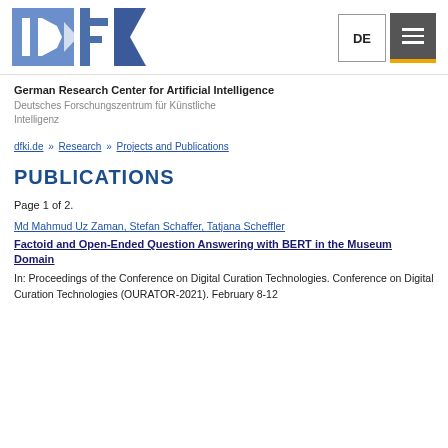[Figure (logo): DFKI logo — blue angular letters D, F, K, I on white background]
German Research Center for Artificial Intelligence
Deutsches Forschungszentrum für Künstliche Intelligenz
dfki.de » Research » Projects and Publications
PUBLICATIONS
Page 1 of 2.
Md Mahmud Uz Zaman, Stefan Schaffer, Tatjana Scheffler
Factoid and Open-Ended Question Answering with BERT in the Museum Domain
In: Proceedings of the Conference on Digital Curation Technologies. Conference on Digital Curation Technologies (OURATOR-2021). February 8-12